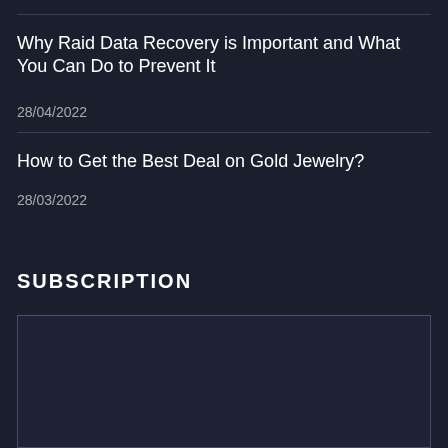Why Raid Data Recovery is Important and What You Can Do to Prevent It
28/04/2022
How to Get the Best Deal on Gold Jewelry?
28/03/2022
SUBSCRIPTION
Enter your email address: